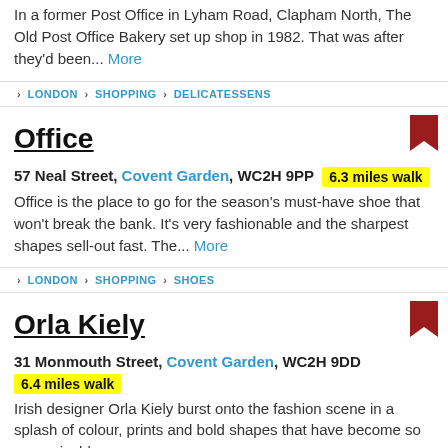In a former Post Office in Lyham Road, Clapham North, The Old Post Office Bakery set up shop in 1982. That was after they'd been... More
LONDON > SHOPPING > DELICATESSENS
Office
57 Neal Street, Covent Garden, WC2H 9PP  6.3 miles walk
Office is the place to go for the season's must-have shoe that won't break the bank. It's very fashionable and the sharpest shapes sell-out fast. The... More
LONDON > SHOPPING > SHOES
Orla Kiely
31 Monmouth Street, Covent Garden, WC2H 9DD
6.4 miles walk
Irish designer Orla Kiely burst onto the fashion scene in a splash of colour, prints and bold shapes that have become so recognisable...